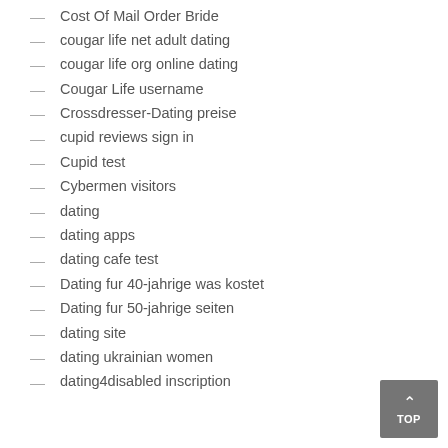Cost Of Mail Order Bride
cougar life net adult dating
cougar life org online dating
Cougar Life username
Crossdresser-Dating preise
cupid reviews sign in
Cupid test
Cybermen visitors
dating
dating apps
dating cafe test
Dating fur 40-jahrige was kostet
Dating fur 50-jahrige seiten
dating site
dating ukrainian women
dating4disabled inscription